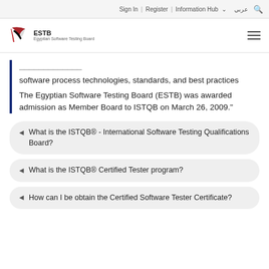Sign In | Register |Information Hub ▾  عربي 🔍
[Figure (logo): ESTB Egyptian Software Testing Board logo with red and black flag/ribbon icon]
software process technologies, standards, and best practices
The Egyptian Software Testing Board (ESTB) was awarded admission as Member Board to ISTQB on March 26, 2009."
What is the ISTQB® - International Software Testing Qualifications Board?
What is the ISTQB® Certified Tester program?
How can I be obtain the Certified Software Tester Certificate?